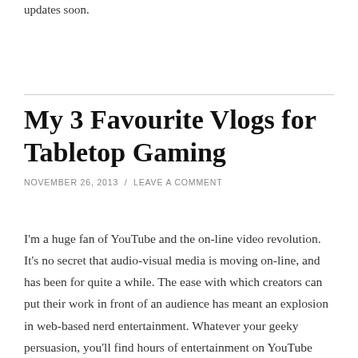updates soon.
My 3 Favourite Vlogs for Tabletop Gaming
NOVEMBER 26, 2013  /  LEAVE A COMMENT
I'm a huge fan of YouTube and the on-line video revolution. It's no secret that audio-visual media is moving on-line, and has been for quite a while. The ease with which creators can put their work in front of an audience has meant an explosion in web-based nerd entertainment. Whatever your geeky persuasion, you'll find hours of entertainment on YouTube